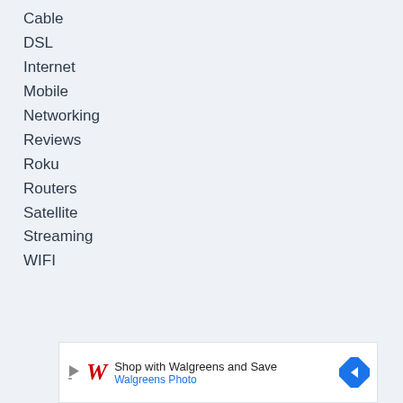Cable
DSL
Internet
Mobile
Networking
Reviews
Roku
Routers
Satellite
Streaming
WIFI
[Figure (other): Walgreens advertisement banner: play icon, Walgreens cursive logo, text 'Shop with Walgreens and Save', subtext 'Walgreens Photo', blue diamond arrow icon]